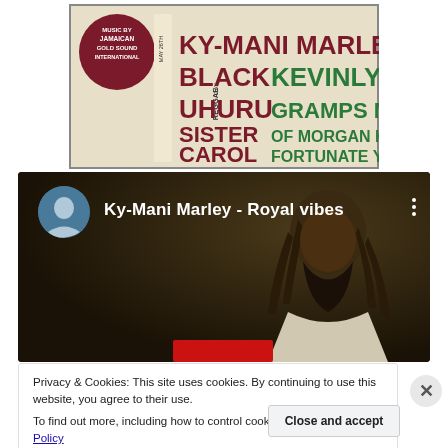[Figure (illustration): Reggae Day May 26th poster featuring Ky-Mani Marley, Black Uhuru, Sister Carol, Kevin Lyttle, Gramps Morgan of Morgan Heritage, Fortunate Youth. Music by Jamaican Gold Sound International.]
[Figure (screenshot): YouTube video thumbnail for Ky-Mani Marley - Royal vibes, showing a man with dreadlocks]
Privacy & Cookies: This site uses cookies. By continuing to use this website, you agree to their use.
To find out more, including how to control cookies, see here: Cookie Policy
Close and accept